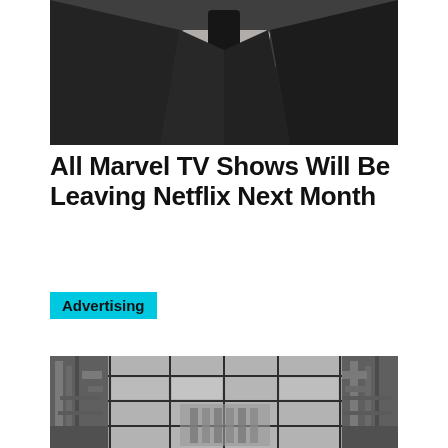[Figure (photo): Close-up of a man in a dark pinstripe suit with a bloody hand resting on his chest, holding a dark object, dramatic lighting]
All Marvel TV Shows Will Be Leaving Netflix Next Month
Advertising
[Figure (photo): Black and white photo of a modern building interior/exterior with a glass ceiling grid structure and reflections of buildings]